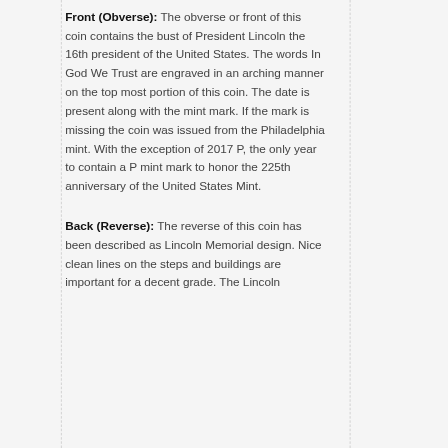Front (Obverse): The obverse or front of this coin contains the bust of President Lincoln the 16th president of the United States. The words In God We Trust are engraved in an arching manner on the top most portion of this coin. The date is present along with the mint mark. If the mark is missing the coin was issued from the Philadelphia mint. With the exception of 2017 P, the only year to contain a P mint mark to honor the 225th anniversary of the United States Mint.
Back (Reverse): The reverse of this coin has been described as Lincoln Memorial design. Nice clean lines on the steps and buildings are important for a decent grade. The Lincoln